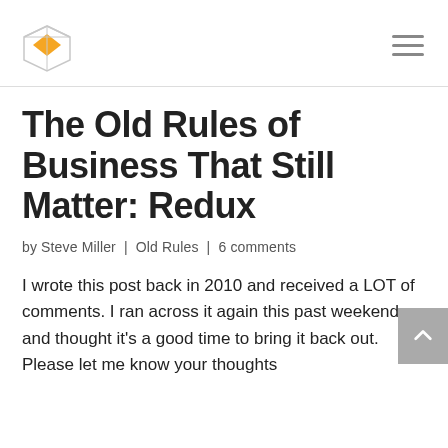Logo and navigation menu
The Old Rules of Business That Still Matter: Redux
by Steve Miller | Old Rules | 6 comments
I wrote this post back in 2010 and received a LOT of comments. I ran across it again this past weekend and thought it's a good time to bring it back out. Please let me know your thoughts